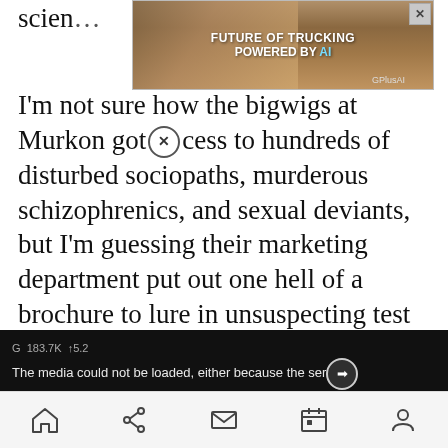scien…
[Figure (screenshot): Advertisement banner showing a semi-truck in a desert landscape with text 'FUTURE OF TRUCKING POWERED BY AI' and GPlusAI branding with a close (X) button]
I'm not sure how the bigwigs at Murkon got [X] cess to hundreds of disturbed sociopaths, murderous schizophrenics, and sexual deviants, but I'm guessing their marketing department put out one hell of a brochure to lure in unsuspecting test subjects. And that leaflet may have looked something like this ....
[Figure (screenshot): Embedded video player showing two men in a split-screen format. Error message reads: 'The media could not be loaded, either because the server or network failed or because the format is not supported.' An X overlay button is shown in the center. View counter shows 183.7K views.]
Home | Share | Mail | Calendar | Profile